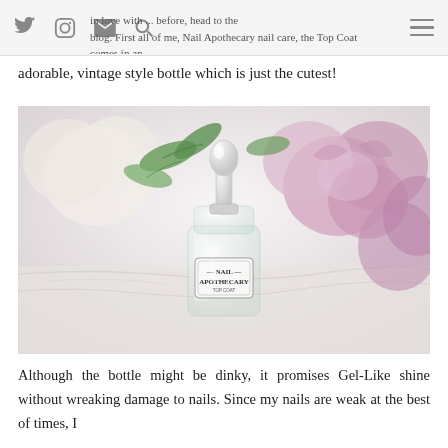Twitter Instagram Email Search [menu] | in love with ... before, head to the blog. First all of me, Nail Apothecary nail care, the Top Coat comes in an
adorable, vintage style bottle which is just the cutest!
[Figure (photo): A clear glass dropper bottle labeled 'NAIL APOTHECARY' with a white dropper top, photographed on a marble surface with pink and white flowers and green leaves in the background.]
Although the bottle might be dinky, it promises Gel-Like shine without wreaking damage to nails. Since my nails are weak at the best of times, I